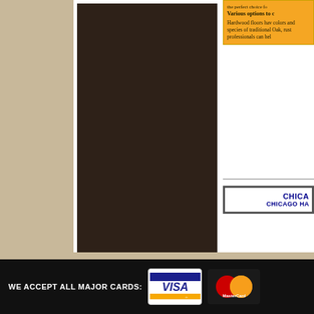[Figure (photo): Dark brown/near-black rectangular image area, appears to be hardwood flooring or dark wood surface]
the perfect choice fo...
Various options to c... Hardwood floors hav... colors and species of... traditional Oak, rust... professionals can hel...
CHICA... CHICAGO HA...
WE ACCEPT ALL MAJOR CARDS: